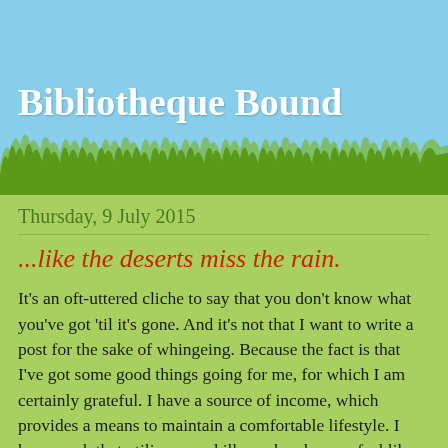Bibliotheque Bound
Thursday, 9 July 2015
...like the deserts miss the rain.
It's an oft-uttered cliche to say that you don't know what you've got 'til it's gone. And it's not that I want to write a post for the sake of whingeing. Because the fact is that I've got some good things going for me, for which I am certainly grateful. I have a source of income, which provides a means to maintain a comfortable lifestyle. I have work that utilises my skills, and makes me feel like I'm making the world a better place, one baby step at a time. I'm based in Europe, where I can take leave and visit all those wonderful places that I've only ever seen in the movies. Most importantly, I always have the option to go home - nobody's forcing me to stay here.
The...with the...one of things that...I...